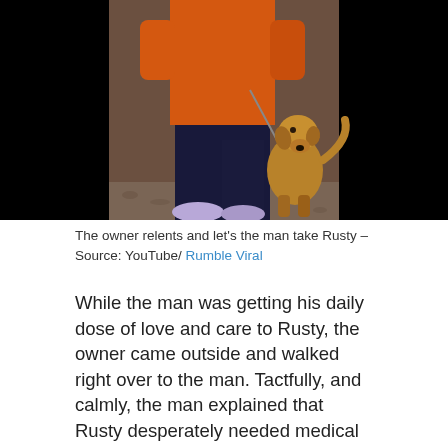[Figure (photo): A person in an orange shirt and dark pants holding a leash with a dog, standing on gravel. The image has black bars on both sides (letterbox). The dog appears to be a medium-sized brown/tan dog.]
The owner relents and let's the man take Rusty – Source: YouTube/ Rumble Viral
While the man was getting his daily dose of love and care to Rusty, the owner came outside and walked right over to the man. Tactfully, and calmly, the man explained that Rusty desperately needed medical attention for his wounds and the tumors. The owner laughed, and said that Rusty had been